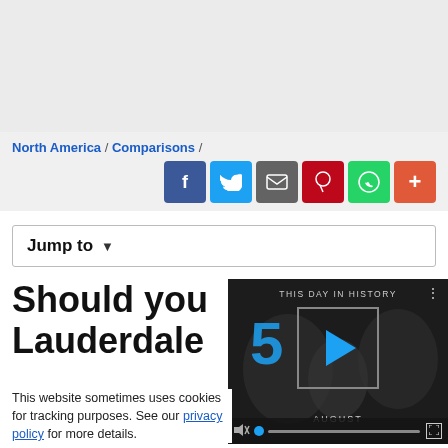[Figure (photo): Gray banner area at top of webpage]
North America / Comparisons /
[Figure (infographic): Social sharing buttons: Facebook, Twitter, Email, Pinterest, WhatsApp, More]
Jump to ▾
Should you... Lauderdale...
[Figure (screenshot): Video player showing 'THIS DAY IN HISTORY' with number 5 and AUGUST label, with play button and controls]
This website sometimes uses cookies for tracking purposes. See our privacy policy for more details.
WHIL IS HES...